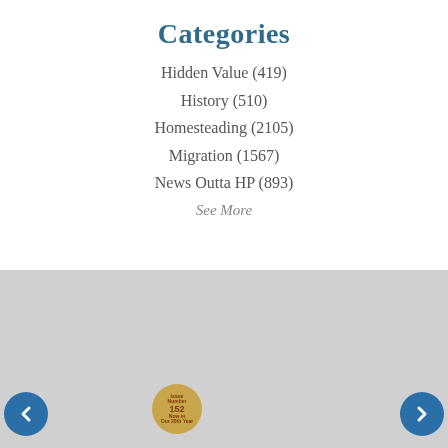Categories
Hidden Value (419)
History (510)
Homesteading (2105)
Migration (1567)
News Outta HP (893)
See More
[Figure (screenshot): Newspaper page mockup featuring HP's latest push article on the left with headline 'HP's latest push: doubling down on x86 servers', and 3000 NewsWire magazine cover on the right with headline 'Virtual legacy runs from 3000's past to its future', Fall 2014, Issue Number 152, Now in Our 20th Year]